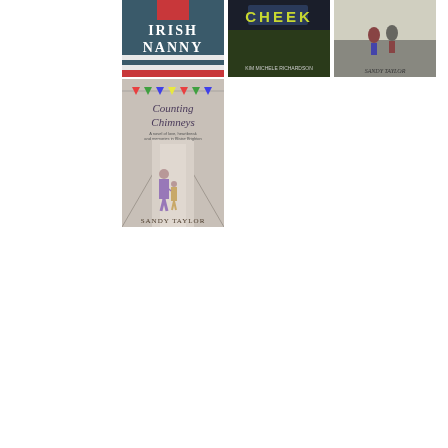[Figure (illustration): Book cover: 'Irish Nanny' - white text on dark background with a woman in red at the top]
[Figure (illustration): Book cover: 'Cheek' by Kim Michele Richardson - close-up of legs/feet with yellow-green title text]
[Figure (illustration): Book cover: Sandy Taylor - children running in a street, vintage style]
[Figure (illustration): Book cover: 'Counting Chimneys' by Sandy Taylor - woman and child walking down a long corridor/street]